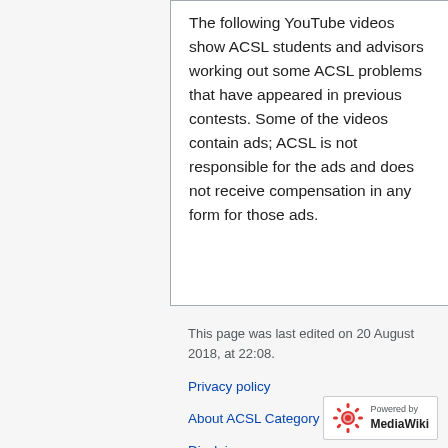The following YouTube videos show ACSL students and advisors working out some ACSL problems that have appeared in previous contests. Some of the videos contain ads; ACSL is not responsible for the ads and does not receive compensation in any form for those ads.
This page was last edited on 20 August 2018, at 22:08.
Privacy policy
About ACSL Category Descriptions
Disclaimers